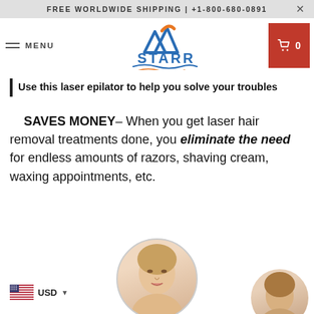FREE WORLDWIDE SHIPPING | +1-800-680-0891
[Figure (logo): STARR brand logo with mountain peak graphic in blue and orange above stylized water wave lines and the word STARR in blue text]
Use this laser epilator to help you solve your troubles
SAVES MONEY– When you get laser hair removal treatments done, you eliminate the need for endless amounts of razors, shaving cream, waxing appointments, etc.
[Figure (photo): Circular cropped photo of a blonde woman touching her face, with a partial second circular photo of another person visible at bottom right]
USD